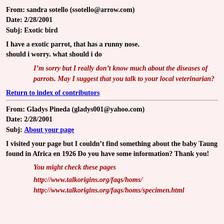From: sandra sotello (ssotello@arrow.com)
Date: 2/28/2001
Subj: Exotic bird
I have a exotic parrot, that has a runny nose. should i worry. what should i do
I’m sorry but I really don’t know much about the diseases of parrots. May I suggest that you talk to your local veterinarian?
Return to index of contributors
From: Gladys Pineda (gladys001@yahoo.com)
Date: 2/28/2001
Subj: About your page
I visited your page but I couldn’t find something about the baby Taung found in Africa en 1926 Do you have some information? Thank you!
You might check these pages
http://www.talkorigins.org/faqs/homs/
http://www.talkorigins.org/faqs/homs/specimen.html